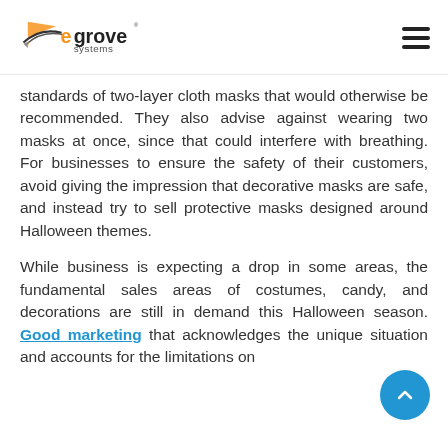eGrove Systems logo and navigation menu
standards of two-layer cloth masks that would otherwise be recommended. They also advise against wearing two masks at once, since that could interfere with breathing. For businesses to ensure the safety of their customers, avoid giving the impression that decorative masks are safe, and instead try to sell protective masks designed around Halloween themes.
While business is expecting a drop in some areas, the fundamental sales areas of costumes, candy, and decorations are still in demand this Halloween season. Good marketing that acknowledges the unique situation and accounts for the limitations on festivities this season are ideal ways for